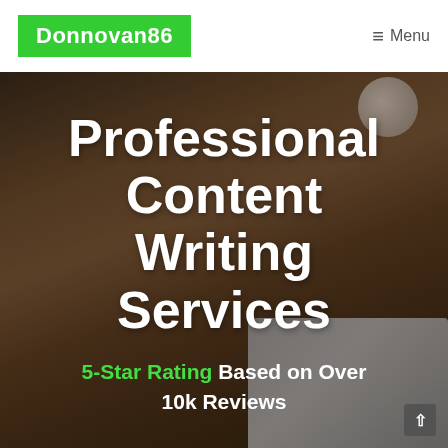Donnovan86  ≡ Menu
[Figure (photo): Dark wooden desk background with a laptop, coffee cup, notebook, and pen — hero image for a content writing services website]
Professional Content Writing Services
5-Star Rating Based on Over 10k Reviews